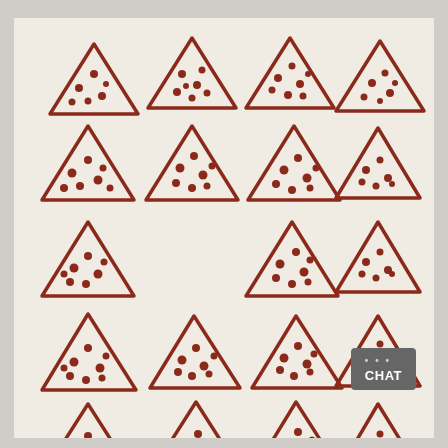[Figure (illustration): A cream-colored fabric/tea towel printed with a repeating pattern of hand-drawn red-brown pizza slice triangles arranged in a 4-column by 5-row grid. Each triangle has dots inside representing toppings. A gray 'CHAT' button overlay appears in the bottom-right area.]